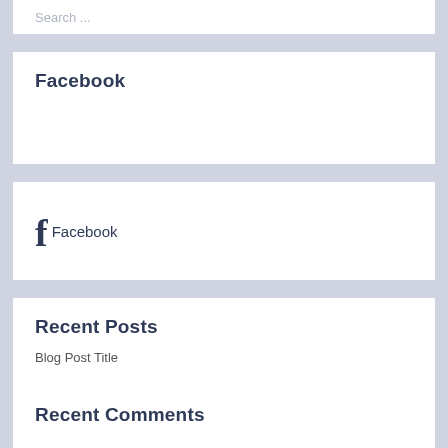Search ...
Facebook
[Figure (logo): Facebook logo: stylized letter f followed by the word Facebook]
Recent Posts
Blog Post Title
Recent Comments